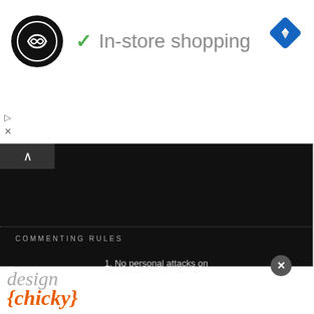[Figure (logo): Black circular logo with infinity/arrow symbol, checkmark, 'In-store shopping' text, and blue diamond navigation icon]
[Figure (screenshot): Dark background video thumbnail with text 'Charged With' and '2021 Hollywo' in blue banner overlay]
[Figure (screenshot): Thumbnail showing ASAP Rocky - Charged With Assault For 2021 Hollywood Shooting, with Gucci label]
[Figure (screenshot): Thumbnail showing Florence Pugh and Zach Braff - Break Up]
COMMENTING RULES
1. No personal attacks on other commenters.
2. No racism
3. If unsure if you're doing #2, refer to #1.
ALSO ON CRAZY DAYS AND NIGHTS
[Figure (screenshot): Design Chicky website screenshot/thumbnail at bottom]